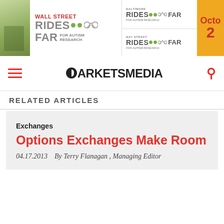[Figure (photo): Banner advertisement for 'Wall Street Rides FAR for Autism Research' and 'Baltimore Rides FAR' and 'Bay Street Rides FAR' events, with an orange panel showing 'Octo 2' (partial date). Features cycling/bicycle imagery and green dot icons.]
MARKETS MEDIA
RELATED ARTICLES
Exchanges
Options Exchanges Make Room
04.17.2013    By Terry Flanagan , Managing Editor